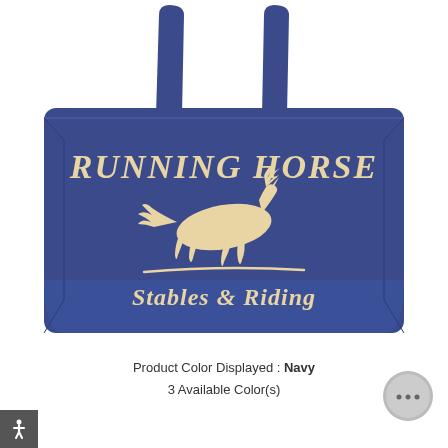[Figure (photo): A navy blue tote bag with cream/beige design showing 'RUNNING HORSE' text at top in script, a galloping horse silhouette in the middle, a swoosh line underneath, and 'Stables & Riding' text below. The bag has two navy handles at the top.]
Product Color Displayed : Navy
3 Available Color(s)